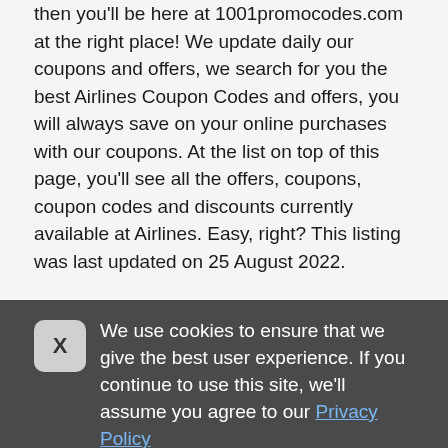then you'll be here at 1001promocodes.com at the right place! We update daily our coupons and offers, we search for you the best Airlines Coupon Codes and offers, you will always save on your online purchases with our coupons. At the list on top of this page, you'll see all the offers, coupons, coupon codes and discounts currently available at Airlines. Easy, right? This listing was last updated on 25 August 2022.
We use cookies to ensure that we give the best user experience. If you continue to use this site, we'll assume you agree to our Privacy Policy